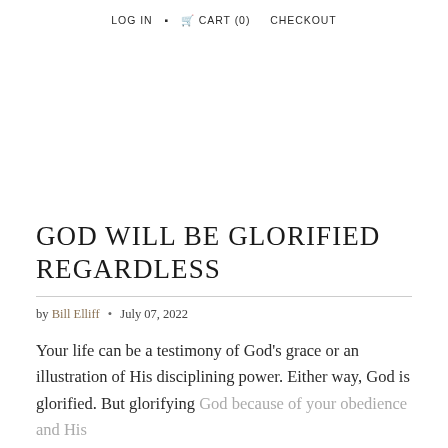LOG IN   CART (0)   CHECKOUT
GOD WILL BE GLORIFIED REGARDLESS
by Bill Elliff  •  July 07, 2022
Your life can be a testimony of God's grace or an illustration of His disciplining power. Either way, God is glorified. But glorifying God because of your obedience and His